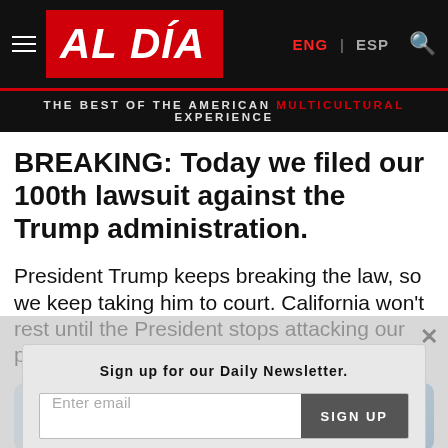AL DÍA — THE BEST OF THE AMERICAN MULTICULTURAL EXPERIENCE | ENG | ESP
BREAKING: Today we filed our 100th lawsuit against the Trump administration.
President Trump keeps breaking the law, so we keep taking him to court. California won't rest until the President stops attacking our people, values, and resources.
[Figure (screenshot): Twitter video embed preview with Watch on Twitter button]
Sign up for our Daily Newsletter.
Enter email | SIGN UP